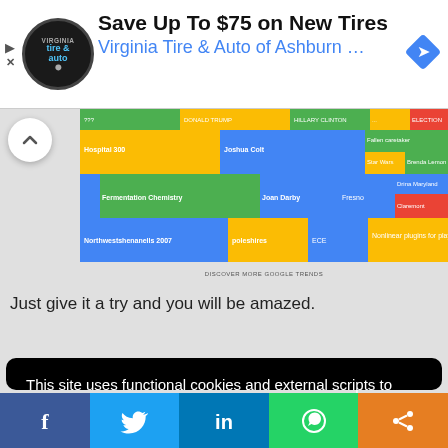[Figure (screenshot): Advertisement banner for Virginia Tire & Auto of Ashburn with logo, text 'Save Up To $75 on New Tires' and 'Virginia Tire & Auto of Ashburn ...' and a navigation arrow icon]
[Figure (screenshot): Google Trends treemap chart showing colored blocks with search trend categories]
Just give it a try and you will be amazed.
This site uses functional cookies and external scripts to improve your experience.
My settings
Accept
[Figure (screenshot): Social sharing bar with Facebook, Twitter, LinkedIn, WhatsApp, and share buttons]